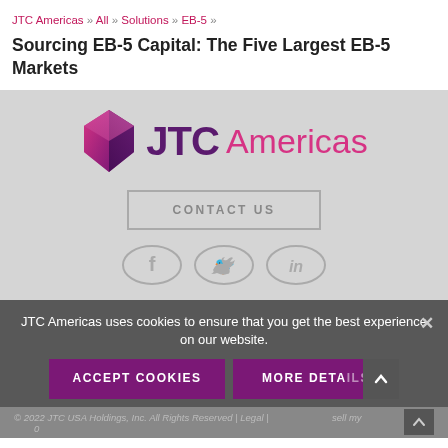JTC Americas » All » Solutions » EB-5 »
Sourcing EB-5 Capital: The Five Largest EB-5 Markets
[Figure (logo): JTC Americas logo with purple 3D diamond/shield icon, 'JTC' in dark purple bold text and 'Americas' in pink text]
CONTACT US
[Figure (infographic): Three oval social media icons: Facebook (f), Twitter (bird), LinkedIn (in), all in light gray outline style]
JTC Americas uses cookies to ensure that you get the best experience on our website.
ACCEPT COOKIES
MORE DETAILS
© 2022 JTC USA Holdings, Inc. All Rights Reserved | Legal | ... sell my ... 0 ...